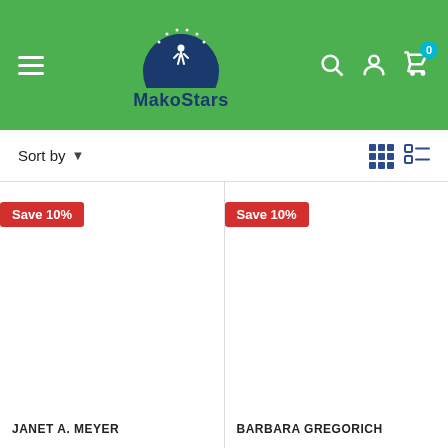[Figure (logo): MakoStars logo with green header background, hamburger menu, search icon, user icon, and cart icon with badge 0]
Sort by
Save 10%
Save 10%
JANET A. MEYER
BARBARA GREGORICH